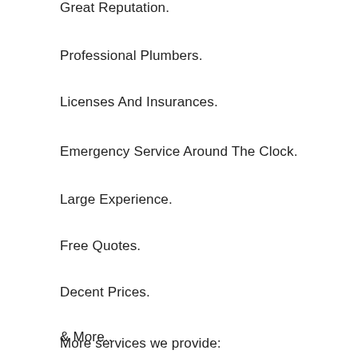Great Reputation.
Professional Plumbers.
Licenses And Insurances.
Emergency Service Around The Clock.
Large Experience.
Free Quotes.
Decent Prices.
& More..
More services we provide: